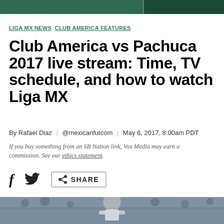LIGA MX NEWS  CLUB AMERICA FEATURES
Club America vs Pachuca 2017 live stream: Time, TV schedule, and how to watch Liga MX
By Rafael Diaz | @mexicanfutcom | May 6, 2017, 8:00am PDT
If you buy something from an SB Nation link, Vox Media may earn a commission. See our ethics statement.
[Figure (photo): Soccer player in white uniform running, with crowd in background]